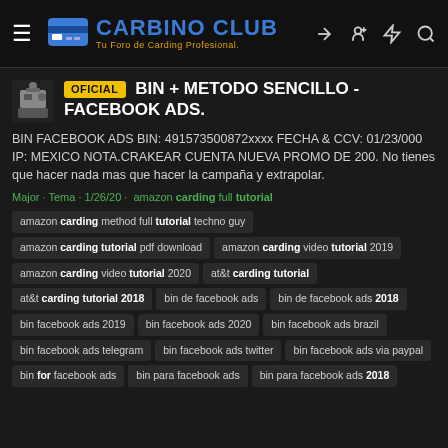CARBINO CLUB - Tu Foro de Carding Profesional.
OFICIAL BIN + METODO SENCILLO - FACEBOOK ADS.
BIN FACEBOOK ADS BIN: 491573500872xxxx FECHA & CCV: 01/23/000 IP: MEXICO NOTA.CRAKEAR CUENTA NUEVA PROMO DE 200. No tienes que hacer nada mas que hacer la campaña y extrapolar.
Major · Tema · 1/26/20 · amazon carding full tutorial
amazon carding method full tutorial techno guy
amazon carding tutorial pdf download
amazon carding video tutorial 2019
amazon carding video tutorial 2020
at&t carding tutorial
at&t carding tutorial 2018
bin de facebook ads
bin de facebook ads 2018
bin facebook ads 2019
bin facebook ads 2020
bin facebook ads brazil
bin facebook ads telegram
bin facebook ads twitter
bin facebook ads via paypal
bin for facebook ads
bin para facebook ads
bin para facebook ads 2018